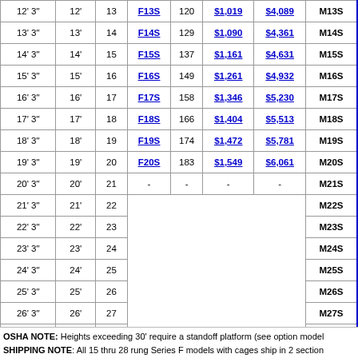| Height | Rung Spacing | Rungs | Model F | Lbs | Kit Price | Installed Price | Model M |
| --- | --- | --- | --- | --- | --- | --- | --- |
| 12' 3" | 12' | 13 | F13S | 120 | $1,019 | $4,089 | M13S |
| 13' 3" | 13' | 14 | F14S | 129 | $1,090 | $4,361 | M14S |
| 14' 3" | 14' | 15 | F15S | 137 | $1,161 | $4,631 | M15S |
| 15' 3" | 15' | 16 | F16S | 149 | $1,261 | $4,932 | M16S |
| 16' 3" | 16' | 17 | F17S | 158 | $1,346 | $5,230 | M17S |
| 17' 3" | 17' | 18 | F18S | 166 | $1,404 | $5,513 | M18S |
| 18' 3" | 18' | 19 | F19S | 174 | $1,472 | $5,781 | M19S |
| 19' 3" | 19' | 20 | F20S | 183 | $1,549 | $6,061 | M20S |
| 20' 3" | 20' | 21 | - | - | - | - | M21S |
| 21' 3" | 21' | 22 |  |  |  |  | M22S |
| 22' 3" | 22' | 23 |  |  |  |  | M23S |
| 23' 3" | 23' | 24 |  |  |  |  | M24S |
| 24' 3" | 24' | 25 |  |  |  |  | M25S |
| 25' 3" | 25' | 26 |  |  |  |  | M26S |
| 26' 3" | 26' | 27 |  |  |  |  | M27S |
| 27' 3" | 27' | 28 |  |  |  |  | M28S |
| 28' 3" | 28' | 29 |  |  |  |  | M29S |
| 29' 3" | 29' | 30 |  |  |  |  | M30S |
OSHA NOTE: Heights exceeding 30' require a standoff platform (see option model SHIPPING NOTE: All 15 thru 28 rung Series F models with cages ship in 2 section